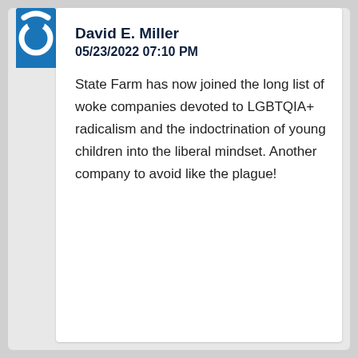[Figure (logo): Blue square avatar with white circular logo element at top left of card]
David E. Miller
05/23/2022 07:10 PM
State Farm has now joined the long list of woke companies devoted to LGBTQIA+ radicalism and the indoctrination of young children into the liberal mindset. Another company to avoid like the plague!